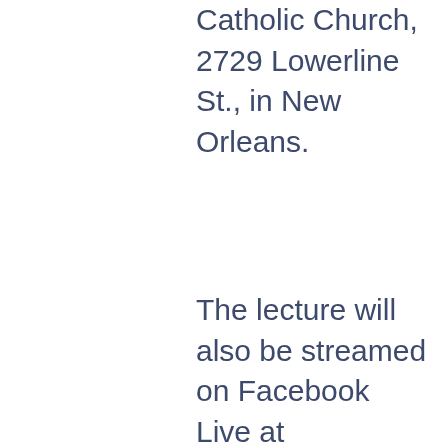Catholic Church, 2729 Lowerline St., in New Orleans.
The lecture will also be streamed on Facebook Live at facebook.com/laudatosiforall at 7 pm Central Standard Time.
Fr. Scarel’s talk is open to the public at no charge. All are welcome. The